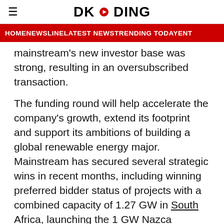DKODING
HOME  NEWSLINE  LATEST NEWS  TRENDING TODAY  ENT
Mainstream's new investor base was strong, resulting in an oversubscribed transaction.
The funding round will help accelerate the company's growth, extend its footprint and support its ambitions of building a global renewable energy major. Mainstream has secured several strategic wins in recent months, including winning preferred bidder status of projects with a combined capacity of 1.27 GW in South Africa, launching the 1 GW Nazca Renovables platform in Chile and securing an investment decision from the Provincial Government of Soc Trang relating to the 1.4 GW Phu Cuong Soc Trang offshore